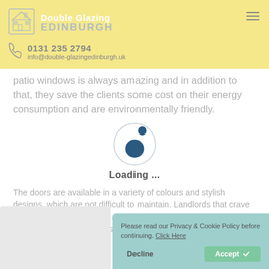Double Glazing EDINBURGH | 0131 235 2794 | info@double-glazingedinburgh.uk
patio windows is always amazing and in addition to that, they save the clients some cost on their energy consumption and are environmentally friendly.
[Figure (other): Loading spinner animation with dark blue circle and dot, and 'Loading ...' text below]
The doors are available in a variety of colours and stylish designs, which are not difficult to maintain. Landlords that crave for more elegance, safety, and aesthetic views have always opted for these patio doors.
[Figure (photo): Partial image at bottom left, appears to show a white interior/window]
Please read our Privacy & Cookie Policy before continuing. Click Here
Decline
Accept